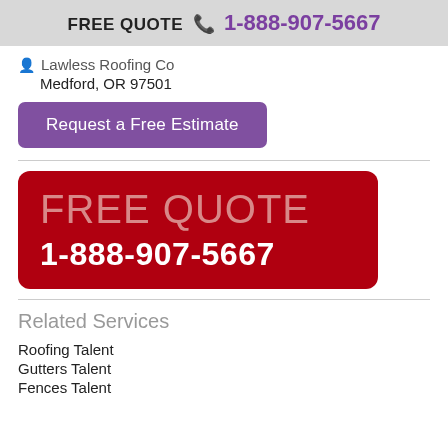FREE QUOTE 1-888-907-5667
Lawless Roofing Co
Medford, OR 97501
Request a Free Estimate
[Figure (infographic): Red rounded rectangle banner reading FREE QUOTE and phone number 1-888-907-5667]
Related Services
Roofing Talent
Gutters Talent
Fences Talent